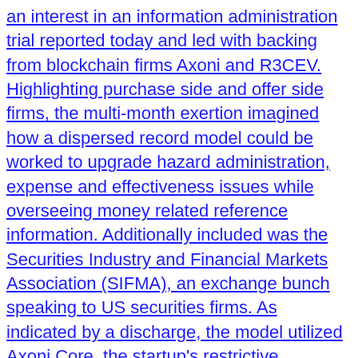an interest in an information administration trial reported today and led with backing from blockchain firms Axoni and R3CEV. Highlighting purchase side and offer side firms, the multi-month exertion imagined how a dispersed record model could be worked to upgrade hazard administration, expense and effectiveness issues while overseeing money related reference information. Additionally included was the Securities Industry and Financial Markets Association (SIFMA), an exchange bunch speaking to US securities firms. As indicated by a discharge, the model utilized Axoni Core, the startup's restrictive appropriated record programming to reproduce the community oriented administration of reference information utilized as a part of corporate security issuance. The organizations said: "The innovation